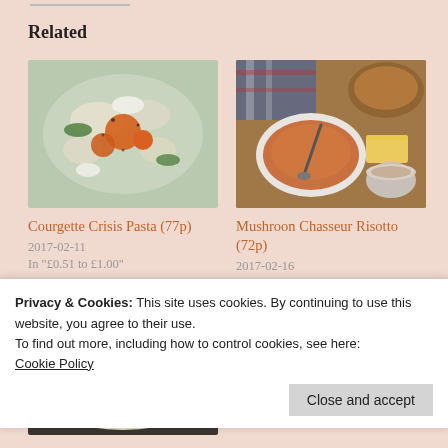Related
[Figure (photo): Photo of Courgette Crisis Pasta dish with pasta, orange tomatoes, green courgette and white cheese]
Courgette Crisis Pasta (77p)
2017-02-11
In "£0.51 to £1.00"
[Figure (photo): Photo of Mushroom Chasseur Risotto in a white bowl, with butter and cream in background]
Mushroon Chasseur Risotto (72p)
2017-02-16
In "£0.51 to £1.00"
[Figure (photo): Photo of creamy risotto or porridge in a pan with a wooden spoon]
Privacy & Cookies: This site uses cookies. By continuing to use this website, you agree to their use.
To find out more, including how to control cookies, see here:
Cookie Policy
Close and accept